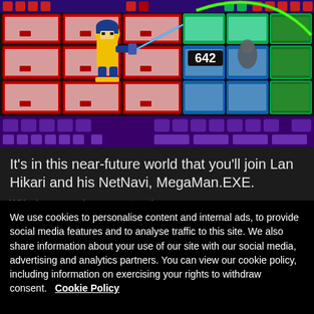[Figure (screenshot): Game screenshot from MegaMan Battle Network showing a battle scene with MegaMan EXE character in gold armor on left side red panel grid, and blue panel grid on right with enemy, grass panels, and HP counter showing 642]
It’s in this near-future world that you’ll join Lan Hikari and his NetNavi, MegaMan.EXE.
With viruses running rampant on the...
We use cookies to personalise content and internal ads, to provide social media features and to analyse traffic to this site. We also share information about your use of our site with our social media, advertising and analytics partners. You can view our cookie policy, including information on exercising your rights to withdraw consent.   Cookie Policy
❯ SETTINGS
I ACCEPT
known as WWW, or World Three... MegaMan to untangle a web of mysterious events that threaten to d... let Society!